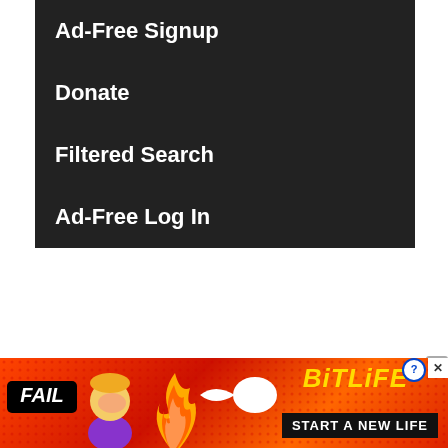Ad-Free Signup
Donate
Filtered Search
Ad-Free Log In
[Figure (screenshot): BitLife mobile game advertisement banner with 'FAIL' badge, animated character, fire graphics, BitLife logo in yellow italic text with question mark and close button icons, and 'START A NEW LIFE' tagline on black background]